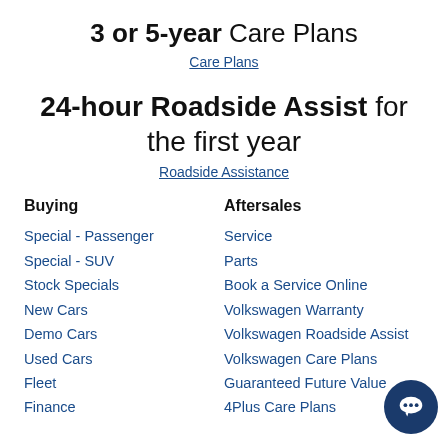3 or 5-year Care Plans
Care Plans
24-hour Roadside Assist for the first year
Roadside Assistance
Buying
Special - Passenger
Special - SUV
Stock Specials
New Cars
Demo Cars
Used Cars
Fleet
Finance
Aftersales
Service
Parts
Book a Service Online
Volkswagen Warranty
Volkswagen Roadside Assist
Volkswagen Care Plans
Guaranteed Future Value
4Plus Care Plans